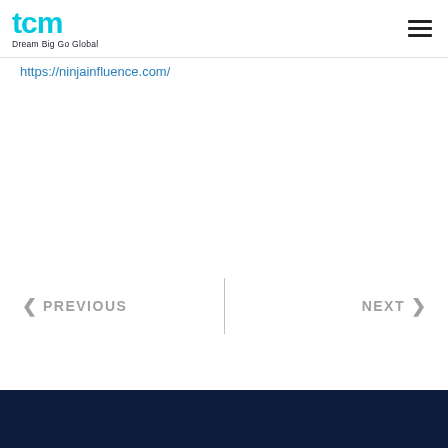TCM Dream Big Go Global
https://ninjainfluence.com/
PREVIOUS
NEXT